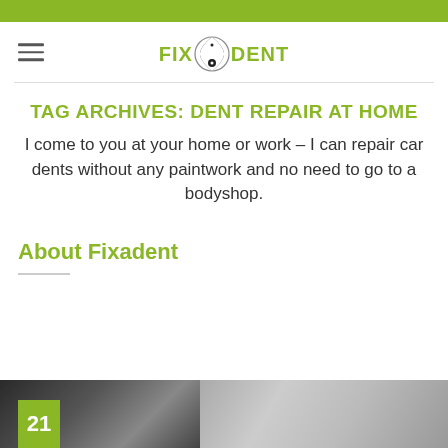[Figure (logo): Fixadent logo with hamburger menu icon on left and stylized yin-yang type icon between FIX and DENT text in green]
TAG ARCHIVES: DENT REPAIR AT HOME
I come to you at your home or work – I can repair car dents without any paintwork and no need to go to a bodyshop.
About Fixadent
[Figure (photo): Black and white photo strip showing car dent repair imagery, partially cropped at bottom of page, with a green date badge showing '21' in lower left corner]